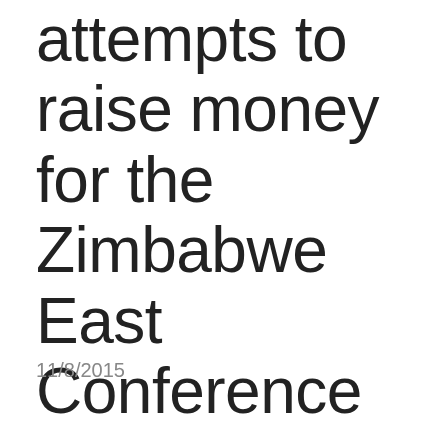attempts to raise money for the Zimbabwe East Conference
11/8/2015